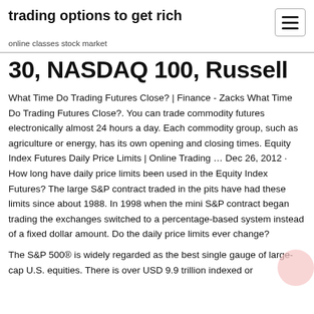trading options to get rich
online classes stock market
30, NASDAQ 100, Russell
What Time Do Trading Futures Close? | Finance - Zacks What Time Do Trading Futures Close?. You can trade commodity futures electronically almost 24 hours a day. Each commodity group, such as agriculture or energy, has its own opening and closing times. Equity Index Futures Daily Price Limits | Online Trading … Dec 26, 2012 · How long have daily price limits been used in the Equity Index Futures? The large S&P contract traded in the pits have had these limits since about 1988. In 1998 when the mini S&P contract began trading the exchanges switched to a percentage-based system instead of a fixed dollar amount. Do the daily price limits ever change?
The S&P 500® is widely regarded as the best single gauge of large-cap U.S. equities. There is over USD 9.9 trillion indexed or